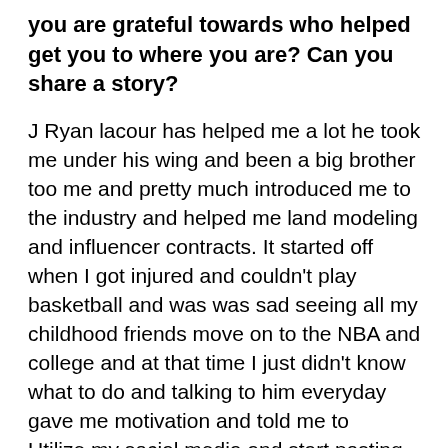you are grateful towards who helped get you to where you are? Can you share a story?
J Ryan lacour has helped me a lot he took me under his wing and been a big brother too me and pretty much introduced me to the industry and helped me land modeling and influencer contracts. It started off when I got injured and couldn't play basketball and was was sad seeing all my childhood friends move on to the NBA and college and at that time I just didn't know what to do and talking to him everyday gave me motivation and told me to Utilize my social media and start posting more so when that happened I took a trip to LA and met the head of multiple big brands and started